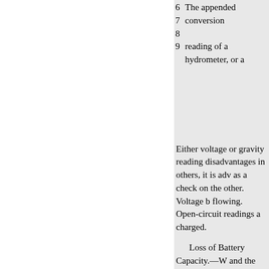6  The appended conversion
7
8  reading of a hydrometer, or a
9
Either voltage or gravity reading disadvantages in others, it is adv as a check on the other. Voltage flowing. Open-circuit readings a charged.
Loss of Battery Capacity.—W and the trouble located. If the ce be sulphated, due to lack of prop indicated by short capacity and a the bottom of the cell will short c appearance, there being little sed Sediment should be removed fro particles of dirt or other adhering
Sediment in Cells.— The rate at handled, and it is therefore neces after, say, fifty charges, the dept when the battery will need cleani different cells, and as the sedime beginning, it is always advisable